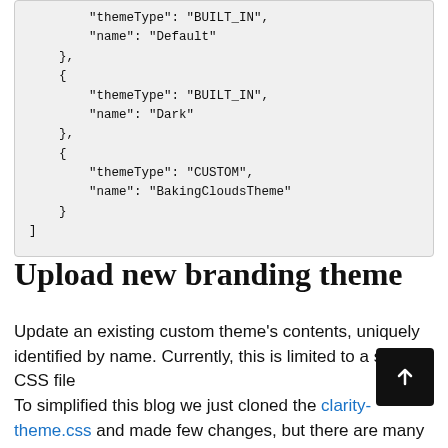"themeType": "BUILT_IN",
    "name": "Default"
},
{
    "themeType": "BUILT_IN",
    "name": "Dark"
},
{
    "themeType": "CUSTOM",
    "name": "BakingCloudsTheme"
}
]
Upload new branding theme
Update an existing custom theme's contents, uniquely identified by name. Currently, this is limited to a single CSS file
To simplified this blog we just cloned the clarity-theme.css and made few changes, but there are many